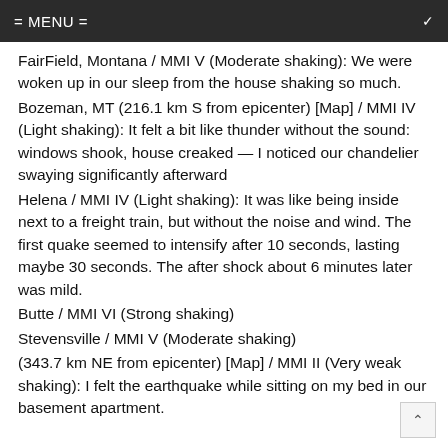= MENU =
FairField, Montana / MMI V (Moderate shaking): We were woken up in our sleep from the house shaking so much.
Bozeman, MT (216.1 km S from epicenter) [Map] / MMI IV (Light shaking): It felt a bit like thunder without the sound: windows shook, house creaked — I noticed our chandelier swaying significantly afterward
Helena / MMI IV (Light shaking): It was like being inside next to a freight train, but without the noise and wind. The first quake seemed to intensify after 10 seconds, lasting maybe 30 seconds. The after shock about 6 minutes later was mild.
Butte / MMI VI (Strong shaking)
Stevensville / MMI V (Moderate shaking)
(343.7 km NE from epicenter) [Map] / MMI II (Very weak shaking): I felt the earthquake while sitting on my bed in our basement apartment.